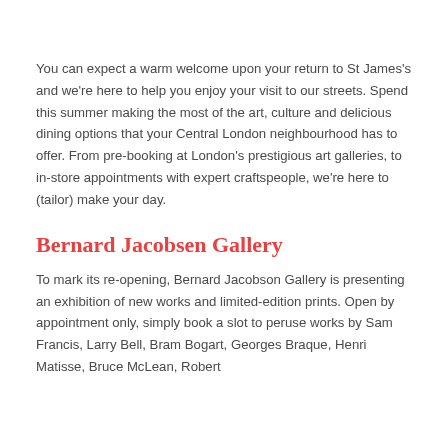You can expect a warm welcome upon your return to St James's and we're here to help you enjoy your visit to our streets. Spend this summer making the most of the art, culture and delicious dining options that your Central London neighbourhood has to offer. From pre-booking at London's prestigious art galleries, to in-store appointments with expert craftspeople, we're here to (tailor) make your day.
Bernard Jacobsen Gallery
To mark its re-opening, Bernard Jacobson Gallery is presenting an exhibition of new works and limited-edition prints. Open by appointment only, simply book a slot to peruse works by Sam Francis, Larry Bell, Bram Bogart, Georges Braque, Henri Matisse, Bruce McLean, Robert